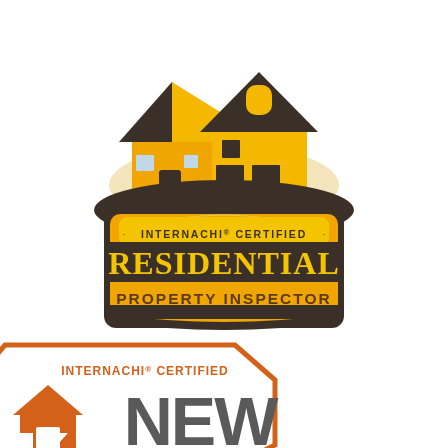[Figure (logo): InterNACHI Certified Residential Property Inspector badge/logo featuring an illustrated house with dark outline and gold/orange colors, with text 'INTERNACHI® CERTIFIED' in an arc above 'RESIDENTIAL' in large gold letters and 'PROPERTY INSPECTOR' in brown letters on a dark banner background.]
[Figure (logo): InterNACHI Certified New (Construction Inspector?) logo - octagonal orange border shape with 'INTERNACHI® CERTIFIED' text in orange at top, an orange house/arrow icon on left, and 'NEW' in large gray letters on right, partially cut off at bottom of page.]